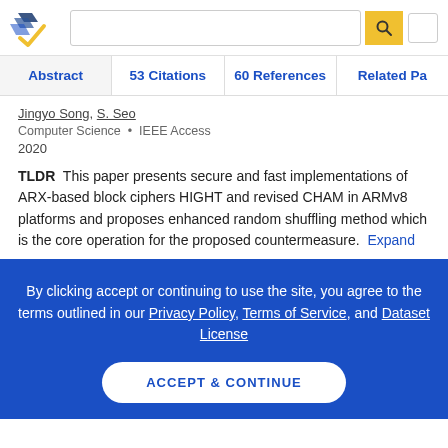Semantic Scholar — search bar and navigation
Abstract  53 Citations  60 References  Related Pa
Jingyo Song, S. Seo
Computer Science • IEEE Access
2020
TLDR This paper presents secure and fast implementations of ARX-based block ciphers HIGHT and revised CHAM in ARMv8 platforms and proposes enhanced random shuffling method which is the core operation for the proposed countermeasure. Expand
By clicking accept or continuing to use the site, you agree to the terms outlined in our Privacy Policy, Terms of Service, and Dataset License
ACCEPT & CONTINUE